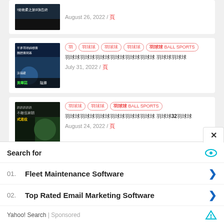[Figure (screenshot): Partial article card at top showing thumbnail and date August 26, 2022]
[Figure (screenshot): Article card with badminton thumbnail showing tags and headline in Chinese, dated July 31, 2022]
[Figure (screenshot): Article card with badminton player thumbnail showing tags and headline in Chinese with '32', dated August 24, 2022]
[Figure (screenshot): Partial article card at bottom with thumbnail and tags visible]
[Figure (screenshot): Yahoo Search ad overlay with 'Search for', Fleet Maintenance Software, Top Rated Email Marketing Software items]